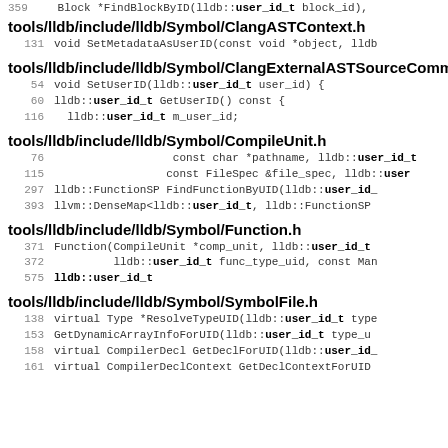359    Block *FindBlockByID(lldb::user_id_t block_id),
tools/lldb/include/lldb/Symbol/ClangASTContext.h
131    void SetMetadataAsUserID(const void *object, lldb
tools/lldb/include/lldb/Symbol/ClangExternalASTSourceComm
54     void SetUserID(lldb::user_id_t user_id) {
60     lldb::user_id_t GetUserID() const {
116      lldb::user_id_t m_user_id;
tools/lldb/include/lldb/Symbol/CompileUnit.h
76                   const char *pathname, lldb::user_id_t
115                  const FileSpec &file_spec, lldb::user
297    lldb::FunctionSP FindFunctionByUID(lldb::user_id_
393    llvm::DenseMap<lldb::user_id_t, lldb::FunctionSP
tools/lldb/include/lldb/Symbol/Function.h
371    Function(CompileUnit *comp_unit, lldb::user_id_t
372             lldb::user_id_t func_type_uid, const Man
575    lldb::user_id_t
tools/lldb/include/lldb/Symbol/SymbolFile.h
138    virtual Type *ResolveTypeUID(lldb::user_id_t type
153    GetDynamicArrayInfoForUID(lldb::user_id_t type_u
158    virtual CompilerDecl GetDeclForUID(lldb::user_id_
161    virtual CompilerDeclContext GetDeclContextForUID